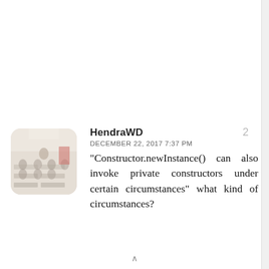[Figure (photo): Rounded square avatar image showing a blurred classroom scene with students seated at desks and a figure at the front of the room.]
HendraWD
DECEMBER 22, 2017 7:37 PM
"Constructor.newInstance() can also invoke private constructors under certain circumstances" what kind of circumstances?